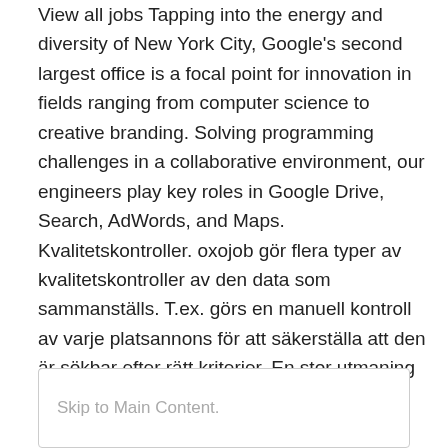View all jobs Tapping into the energy and diversity of New York City, Google's second largest office is a focal point for innovation in fields ranging from computer science to creative branding. Solving programming challenges in a collaborative environment, our engineers play key roles in Google Drive, Search, AdWords, and Maps. Kvalitetskontroller. oxojob gör flera typer av kvalitetskontroller av den data som sammanställs. T.ex. görs en manuell kontroll av varje platsannons för att säkerställa att den är sökbar efter rätt kriterier. En stor utmaning vid sammanställning av jobbannonser är att samma annons oftast publiceras på mer en ett ställe.
Skip to Main Content.